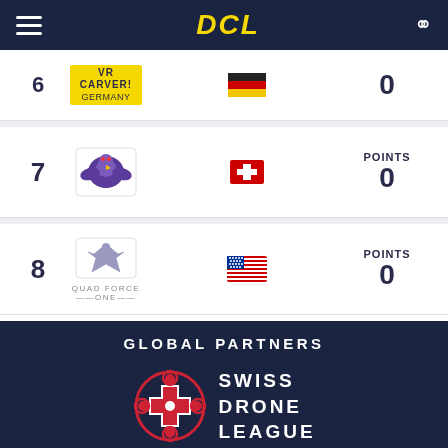DCL
| Rank | Team | Flag | Points |
| --- | --- | --- | --- |
| 6 (partial) | VR CARVER GERMANY | Germany | 0 |
| 7 | (purple team) | Switzerland | POINTS 0 |
| 8 | QUAD FORCE ONE | USA | POINTS 0 |
GLOBAL PARTNERS
[Figure (logo): Swiss Drone League logo — circular drone cross icon in red/white with SWISS DRONE LEAGUE text]